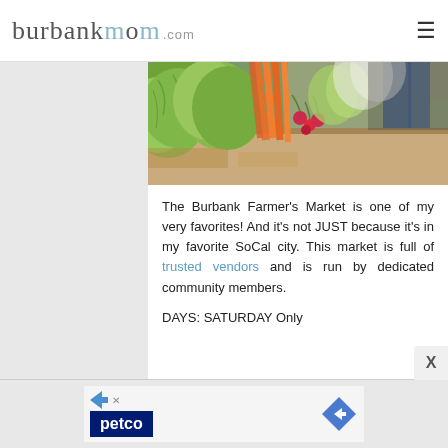burbankmom.com
[Figure (photo): Farmers market display showing green leafy vegetables (romaine lettuce), orange carrots, and other fresh produce arranged on a table, with blurred background of market stalls and people]
The Burbank Farmer's Market is one of my very favorites! And it's not JUST because it's in my favorite SoCal city. This market is full of trusted vendors and is run by dedicated community members.
DAYS: SATURDAY Only
[Figure (screenshot): Petco advertisement banner at bottom of page showing Petco logo with blue background and a diamond-shaped navigation arrow icon]